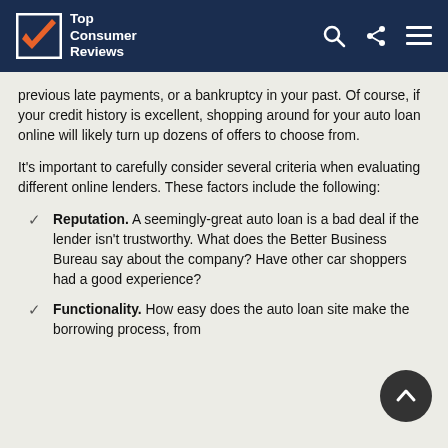Top Consumer Reviews
previous late payments, or a bankruptcy in your past. Of course, if your credit history is excellent, shopping around for your auto loan online will likely turn up dozens of offers to choose from.
It's important to carefully consider several criteria when evaluating different online lenders. These factors include the following:
Reputation. A seemingly-great auto loan is a bad deal if the lender isn't trustworthy. What does the Better Business Bureau say about the company? Have other car shoppers had a good experience?
Functionality. How easy does the auto loan site make the borrowing process, from